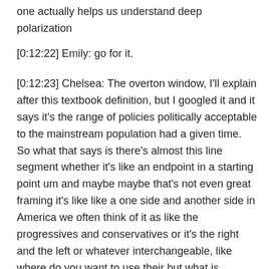one actually helps us understand deep polarization
[0:12:22] Emily: go for it.
[0:12:23] Chelsea: The overton window, I'll explain after this textbook definition, but I googled it and it says it's the range of policies politically acceptable to the mainstream population had a given time. So what that says is there's almost this line segment whether it's like an endpoint in a starting point um and maybe maybe that's not even great framing it's like like a one side and another side in America we often think of it as like the progressives and conservatives or it's the right and the left or whatever interchangeable, like where do you want to use their but what is socially and politically normal In 2021 was not socially and politically normal in the 1970s. When we look at deep polarization in that framework, it's constantly adjusting is constantly changing. Its something new. There's never going to